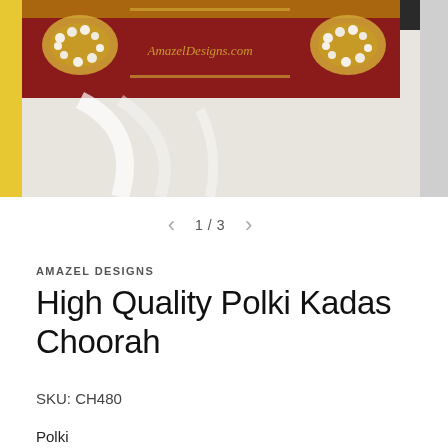[Figure (photo): Photo of ornate red and gold Polki Kadas Choorah (bangles) with pearl and kundan embellishments, displayed on white fabric. A watermark reads 'AmazelDesigns.com'.]
1 / 3
AMAZEL DESIGNS
High Quality Polki Kadas Choorah
SKU: CH480
Polki